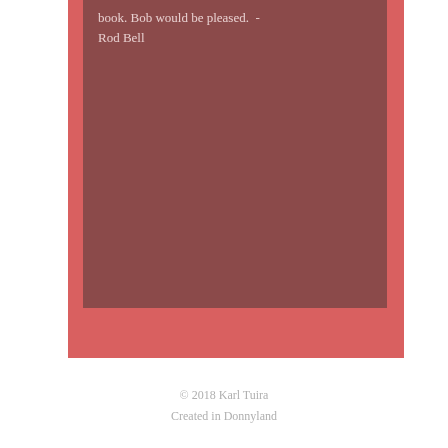[Figure (illustration): A reddish-pink card/book cover with a darker brownish-red inner panel. Text visible at top reads 'book. Bob would be pleased.' attributed to Rod Bell.]
book. Bob would be pleased.  -Rod Bell
© 2018 Karl Tuira
Created in Donnyland